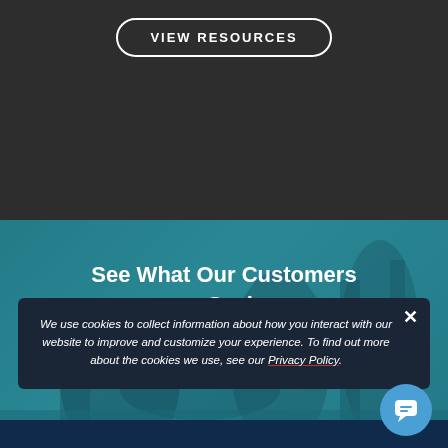VIEW RESOURCES
[Figure (photo): Background photo of people on a boat with teal color overlay]
See What Our Customers are Saying
OUR STORIES
We use cookies to collect information about how you interact with our website to improve and customize your experience. To find out more about the cookies we use, see our Privacy Policy.